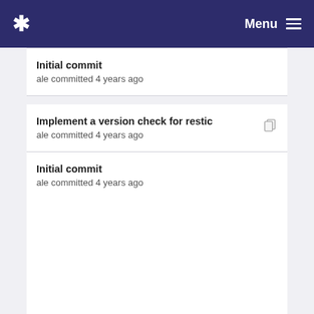* Menu
Initial commit
ale committed 4 years ago
Implement a version check for restic
ale committed 4 years ago
Initial commit
ale committed 4 years ago
Implement a version check for restic
ale committed 4 years ago
Initial commit
ale committed 4 years ago